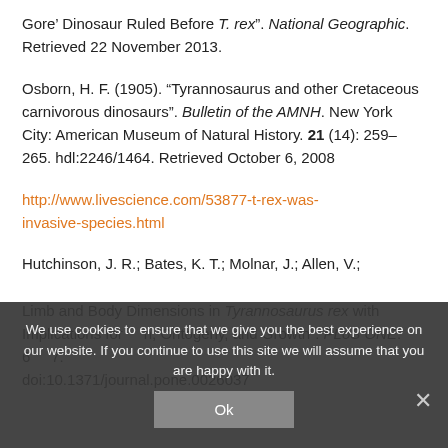Gore' Dinosaur Ruled Before T. rex". National Geographic. Retrieved 22 November 2013.
Osborn, H. F. (1905). “Tyrannosaurus and other Cretaceous carnivorous dinosaurs”. Bulletin of the AMNH. New York City: American Museum of Natural History. 21 (14): 259–265. hdl:2246/1464. Retrieved October 6, 2008
http://www.livescience.com/53877-t-rex-was-invasive-species.html
Hutchinson, J. R.; Bates, K. T.; Molnar, J.; Allen, V.; ... Limb and Body Dimensions in Tyrannosaurus rex with Implications for Locomotion, Ontogeny, and Growth". PLoS ONE. 6 ... 7. doi:10.1371/journal.pone.0026037